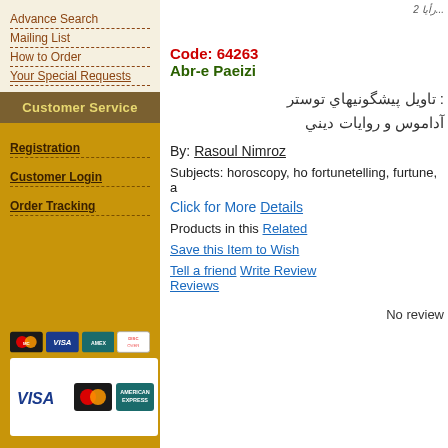Advance Search
Mailing List
How to Order
Your Special Requests
Customer Service
Registration
Customer Login
Order Tracking
[Figure (other): Payment card icons: MasterCard, VISA, American Express, Discover]
[Figure (other): Payment card logos: VISA, MasterCard, American Express in white box]
Code: 64263
Abr-e Paeizi
: تاويل پيشگونيهاي توستر آداموس و روايات ديني
By: Rasoul Nimroz
Subjects: horoscopy, ho fortunetelling, furtune, a
Click for More Details
Products in this Related
Save this Item to Wish
Tell a friend Write Review Reviews
No review